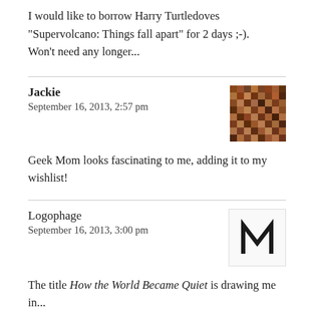I would like to borrow Harry Turtledoves “Supervolcano: Things fall apart” for 2 days ;-). Won’t need any longer...
Jackie
September 16, 2013, 2:57 pm
Geek Mom looks fascinating to me, adding it to my wishlist!
Logophage
September 16, 2013, 3:00 pm
The title How the World Became Quiet is drawing me in...